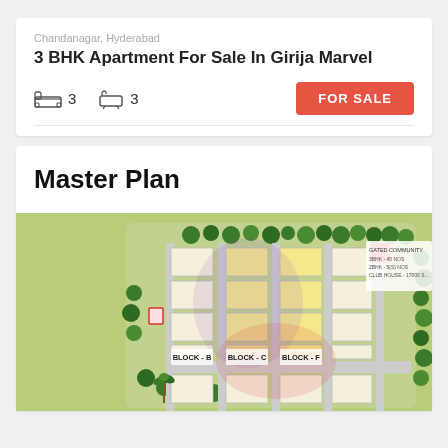Chandanagar, Hyderabad
3 BHK Apartment For Sale In Girija Marvel
3 bedrooms  3 bathrooms  FOR SALE
Master Plan
[Figure (illustration): Master plan layout of Girija Marvel apartment complex showing Block-B, Block-C, Block-F with surrounding greenery and labeled units]